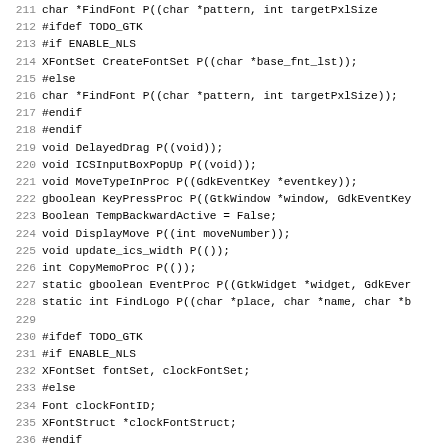Source code listing lines 211-243, showing C header declarations with preprocessor directives (#ifdef TODO_GTK, #if ENABLE_NLS, #else, #endif), function prototypes, and variable declarations.